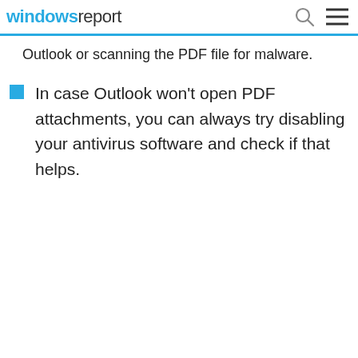windowsreport
Outlook or scanning the PDF file for malware.
In case Outlook won't open PDF attachments, you can always try disabling your antivirus software and check if that helps.